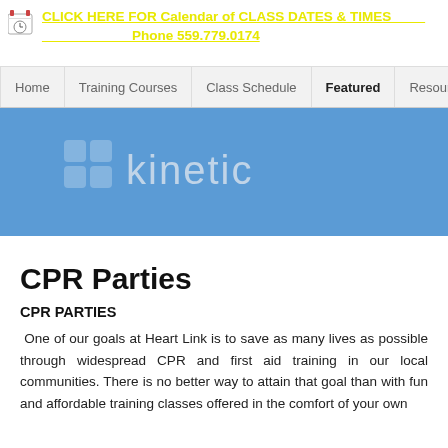CLICK HERE FOR Calendar of CLASS DATES & TIMES ____ ____________Phone 559.779.0174
Home | Training Courses | Class Schedule | Featured | Resources | C...
[Figure (logo): Kinetic logo with grid icon and text 'kinetic' on blue background]
CPR Parties
CPR PARTIES
One of our goals at Heart Link is to save as many lives as possible through widespread CPR and first aid training in our local communities. There is no better way to attain that goal than with fun and affordable training classes offered in the comfort of your own